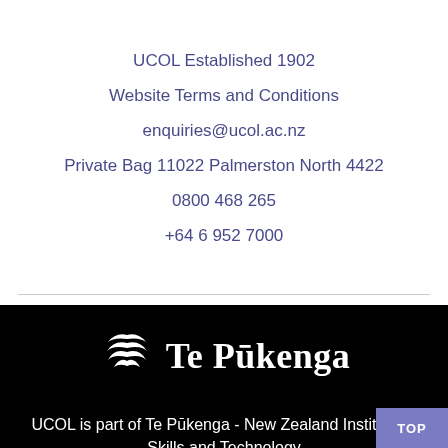UCOL Established 1902
Website Terms and Conditions
enquiries@ucol.ac.nz
Private Bag 11022 Palmerston North 4422
0800 468 265
+64 6 952 7000
[Figure (logo): Te Pukenga logo: white stylized wing/leaf mark beside bold white serif text reading 'Te Pukenga' on black background]
UCOL is part of Te Pukenga - New Zealand Institute of Skills and Technology